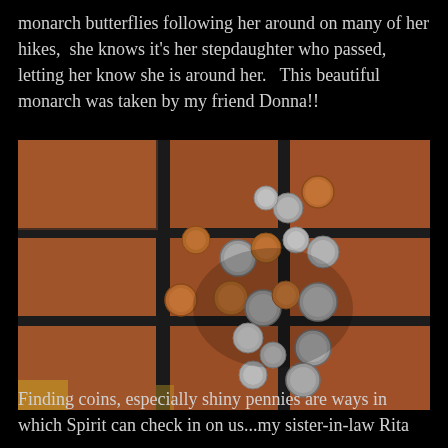monarch butterflies following her around on many of her hikes,  she knows it's her stepdaughter who passed, letting her know she is around her.   This beautiful monarch was taken by my friend Donna!!
[Figure (photo): Photo of numerous coins (pennies, dimes, quarters, nickels) scattered on terracotta brick pavers with dark grout lines between them. The coins are loosely grouped in the center of the image, casting shadows on the textured brick surface.]
Finding coins, especially shiny pennies are ways in which Spirit can check in on us...my sister-in-law Rita